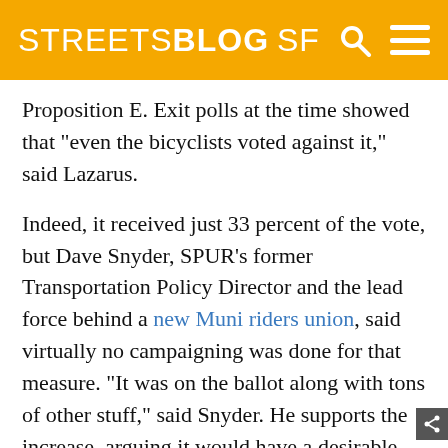STREETSBLOG SF
Proposition E. Exit polls at the time showed that "even the bicyclists voted against it," said Lazarus.
Indeed, it received just 33 percent of the vote, but Dave Snyder, SPUR’s former Transportation Policy Director and the lead force behind a new Muni riders union, said virtually no campaigning was done for that measure. "It was on the ballot along with tons of other stuff," said Snyder. He supports the increase, arguing it would have a desirable effect on transportation and land use behavior. (He’d also like for such a measure to close a loophole for valet parking, which the 2006 measure wouldn’t have done.)
Daniel Meer, chair of the MTA’s Citizens Advisory...